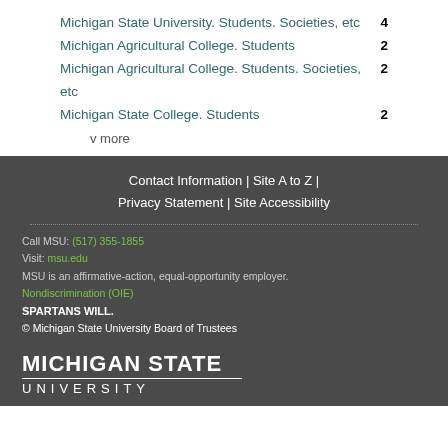Michigan State University. Students. Societies, etc  4
Michigan Agricultural College. Students  2
Michigan Agricultural College. Students. Societies, etc  2
Michigan State College. Students  2
v more
Contact Information | Site A to Z | Privacy Statement | Site Accessibility
Call MSU: (517) 355-1855
Visit: msu.edu
MSU is an affirmative-action, equal-opportunity employer.
Nondiscrimination (OIE)
SPARTANS WILL.
© Michigan State University Board of Trustees
MICHIGAN STATE UNIVERSITY